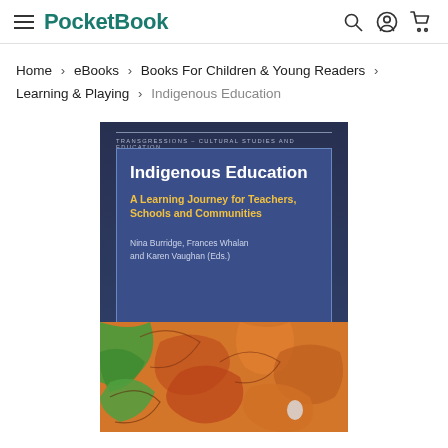PocketBook
Home > eBooks > Books For Children & Young Readers > Learning & Playing > Indigenous Education
[Figure (illustration): Book cover for 'Indigenous Education: A Learning Journey for Teachers, Schools and Communities' by Nina Burridge, Frances Whalan and Karen Vaughan (Eds.). Dark blue background with colorful Aboriginal-style art at the bottom. Series: Transgressions - Cultural Studies and Education.]